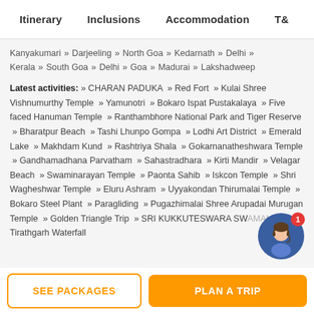Itinerary   Inclusions   Accommodation   T&
Kanyakumari » Darjeeling » North Goa » Kedarnath » Delhi » Kerala » South Goa » Delhi » Goa » Madurai » Lakshadweep
Latest activities: » CHARAN PADUKA » Red Fort » Kulai Shree Vishnumurthy Temple » Yamunotri » Bokaro Ispat Pustakalaya » Five faced Hanuman Temple » Ranthambhore National Park and Tiger Reserve » Bharatpur Beach » Tashi Lhunpo Gompa » Lodhi Art District » Emerald Lake » Makhdam Kund » Rashtriya Shala » Gokarnanatheshwara Temple » Gandhamadhana Parvatham » Sahastradhara » Kirti Mandir » Velagar Beach » Swaminarayan Temple » Paonta Sahib » Iskcon Temple » Shri Wagheshwar Temple » Eluru Ashram » Uyyakondan Thirumalai Temple » Bokaro Steel Plant » Paragliding » Pugazhimalai Shree Arupadai Murugan Temple » Golden Triangle Trip » SRI KUKKUTESWARA SWAMALE » Tirathgarh Waterfall
[Figure (illustration): Chat support avatar bubble with notification badge showing 1]
SEE PACKAGES
PLAN A TRIP